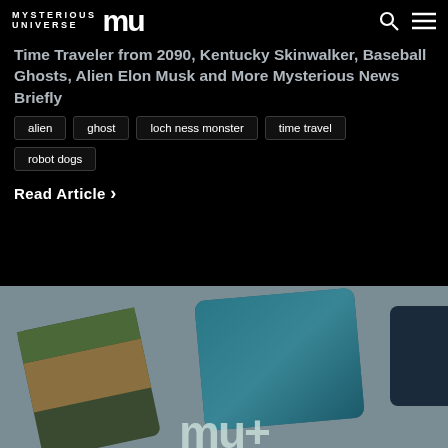Mysterious Universe
Time Traveler from 2090, Kentucky Skinwalker, Baseball Ghosts, Alien Elon Musk and More Mysterious News Briefly
alien
ghost
loch ness monster
time travel
robot dogs
Read Article ›
[Figure (photo): Bottom portion of the page showing a gray surface with overlapping cards/images and the Mysterious Universe MU+ logo text partially visible at the bottom]